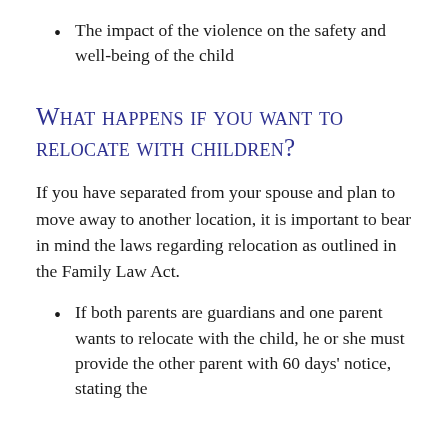The impact of the violence on the safety and well-being of the child
What happens if you want to relocate with children?
If you have separated from your spouse and plan to move away to another location, it is important to bear in mind the laws regarding relocation as outlined in the Family Law Act.
If both parents are guardians and one parent wants to relocate with the child, he or she must provide the other parent with 60 days' notice, stating the